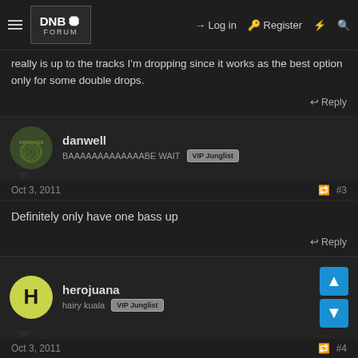DNB FORUM — Log in — Register
really is up to the tracks I'm dropping since it works as the best option only for some double drops.
Reply
danwell
BAAAAAAAAAAAAAAAABE WAIT  VIP Junglist
Oct 3, 2011  #3
Definitely only have one bass up
Reply
herojuana
hairy kuala  VIP Junglist
Oct 3, 2011  #4